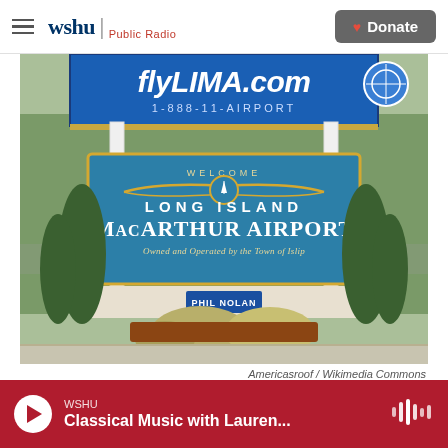wshu | Public Radio — Donate
[Figure (photo): Outdoor sign for Long Island MacArthur Airport with flyLIMA.com billboard above it. Sign reads: LONG ISLAND MacARTHUR AIRPORT, Owned and Operated by the Town of Islip. Surrounded by evergreen trees and ornamental grasses.]
Americasroof / Wikimedia Commons
WSHU — Classical Music with Lauren...